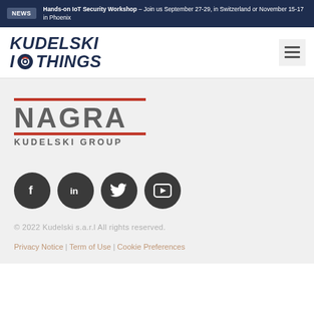NEWS Hands-on IoT Security Workshop – Join us September 27-29, in Switzerland or November 15-17 in Phoenix
[Figure (logo): Kudelski IoThings logo with navigation menu icon]
[Figure (logo): NAGRA Kudelski Group logo with red horizontal lines above and below NAGRA text]
[Figure (infographic): Four dark circular social media icons: Facebook, LinkedIn, Twitter, YouTube]
© 2022 Kudelski s.a.r.l All rights reserved.
Privacy Notice | Term of Use | Cookie Preferences